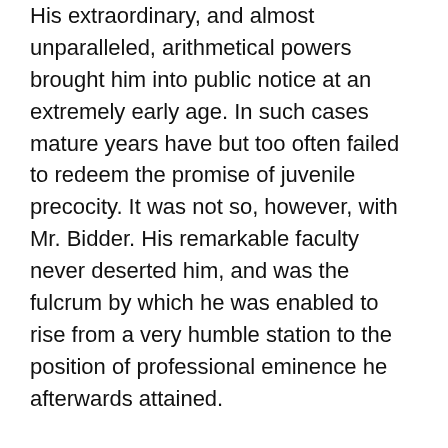His extraordinary, and almost unparalleled, arithmetical powers brought him into public notice at an extremely early age. In such cases mature years have but too often failed to redeem the promise of juvenile precocity. It was not so, however, with Mr. Bidder. His remarkable faculty never deserted him, and was the fulcrum by which he was enabled to rise from a very humble station to the position of professional eminence he afterwards attained.
When about six years of age George Bidder was sent to the village school, but he played truant on every possible occasion. At this time he did not know the common numerical symbols, nor the meaning of the word multiplication; but, having been instructed to count up to a hundred, and possessing sundry treasures in the shape of marbles, shot, etc; he was accustomed to amuse himself by arranging these objects in squares and rows of different numbers. Then, by counting them over, he ascertained, and fixed in a singularly retentive memory, the results of the combinations. In this way he